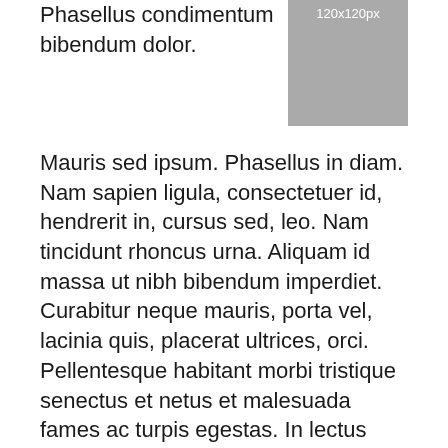Phasellus condimentum bibendum dolor.
[Figure (other): Gray placeholder image 120x120px]
Mauris sed ipsum. Phasellus in diam. Nam sapien ligula, consectetuer id, hendrerit in, cursus sed, leo. Nam tincidunt rhoncus urna. Aliquam id massa ut nibh bibendum imperdiet. Curabitur neque mauris, porta vel, lacinia quis, placerat ultrices, orci. Pellentesque habitant morbi tristique senectus et netus et malesuada fames ac turpis egestas. In lectus nisl, porttitor eget, fermentum et, viverra a, odio. Sed semper. Praesent vulputate nibh eget nisi. Sed ligula. Aenean vehicula posuere neque. Nam nibh lectus, laoreet non, convallis sed, vulputate consectetuer, enim. Pellentesque arcu. Vestibulum consequat nisi a ipsum vulputate vehicula. Aliquam lacus diam, ultricies vel, interdum eget, posuere non, tellus. Donec vel ligula. Sed felis.